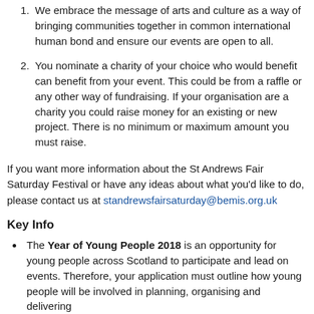We embrace the message of arts and culture as a way of bringing communities together in common international human bond and ensure our events are open to all.
You nominate a charity of your choice who would benefit can benefit from your event. This could be from a raffle or any other way of fundraising. If your organisation are a charity you could raise money for an existing or new project. There is no minimum or maximum amount you must raise.
If you want more information about the St Andrews Fair Saturday Festival or have any ideas about what you'd like to do, please contact us at standrewsfairsaturday@bemis.org.uk
Key Info
The Year of Young People 2018 is an opportunity for young people across Scotland to participate and lead on events. Therefore, your application must outline how young people will be involved in planning, organising and delivering...